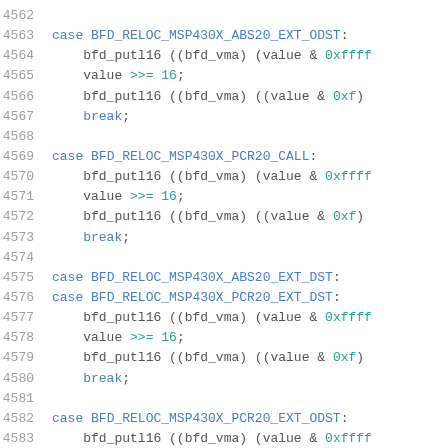Source code listing lines 4562-4583, C code for BFD relocation handling for MSP430X architecture